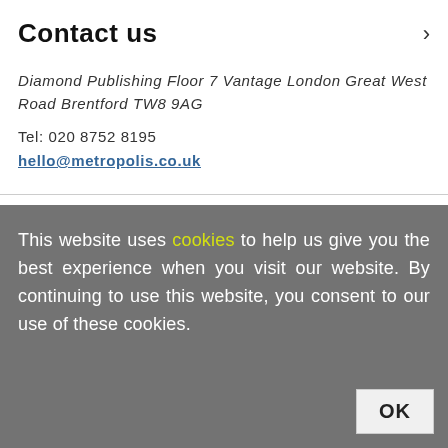Contact us
Diamond Publishing Floor 7 Vantage London Great West Road Brentford TW8 9AG
Tel: 020 8752 8195
hello@metropolis.co.uk
This website uses cookies to help us give you the best experience when you visit our website. By continuing to use this website, you consent to our use of these cookies.